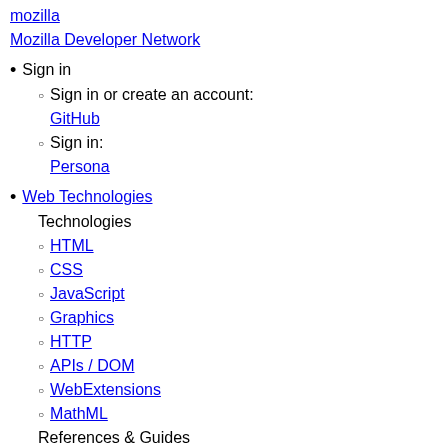mozilla
Mozilla Developer Network
Sign in
Sign in or create an account: GitHub
Sign in: Persona
Web Technologies
Technologies
HTML
CSS
JavaScript
Graphics
HTTP
APIs / DOM
WebExtensions
MathML
References & Guides
Learning web development
Tutorials
References
Developer Guides